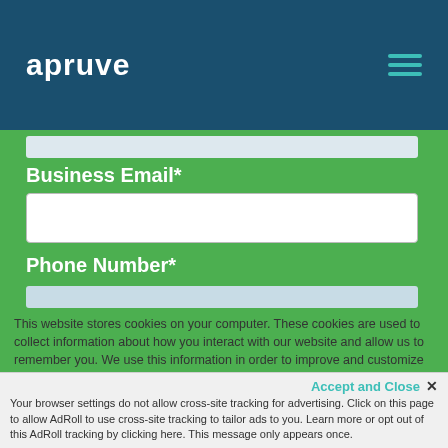[Figure (logo): Apruve logo — white bold text on dark teal header bar with hamburger menu icon on right]
Business Email*
Phone Number*
This website stores cookies on your computer. These cookies are used to collect information about how you interact with our website and allow us to remember you. We use this information in order to improve and customize your browsing experience and for analytics and metrics about our visitors both on this website and other media. To find out more about the cookies we use, see our Privacy Policy.
If you decline, your information won't be tracked when you visit this website. A single cookie will be used in your browser to remember your preference not to be tracked.
Accept and Close ✕
Your browser settings do not allow cross-site tracking for advertising. Click on this page to allow AdRoll to use cross-site tracking to tailor ads to you. Learn more or opt out of this AdRoll tracking by clicking here. This message only appears once.